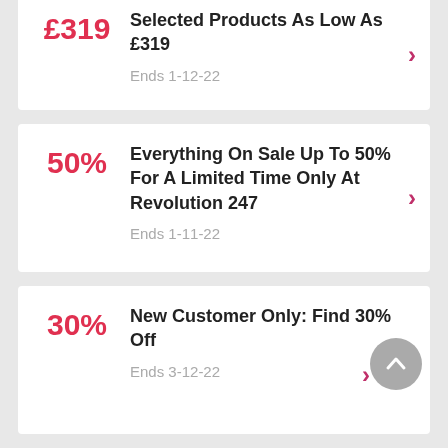£319 — Selected Products As Low As £319 — Ends 1-12-22
50% — Everything On Sale Up To 50% For A Limited Time Only At Revolution 247 — Ends 1-11-22
30% — New Customer Only: Find 30% Off — Ends 3-12-22